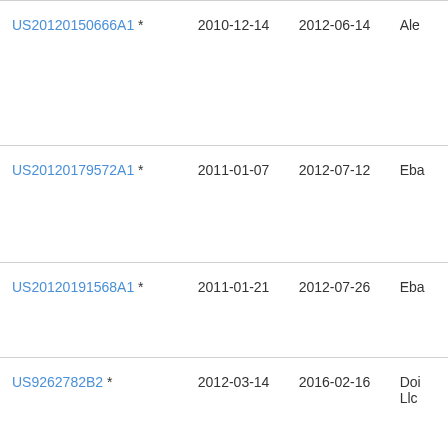| Patent Number | Filed | Published | Assignee |
| --- | --- | --- | --- |
| US20120150666A1 * | 2010-12-14 | 2012-06-14 | Ale... |
| US20120179572A1 * | 2011-01-07 | 2012-07-12 | Eba... |
| US20120191568A1 * | 2011-01-21 | 2012-07-26 | Eba... |
| US9262782B2 * | 2012-03-14 | 2016-02-16 | Doi... Llc... |